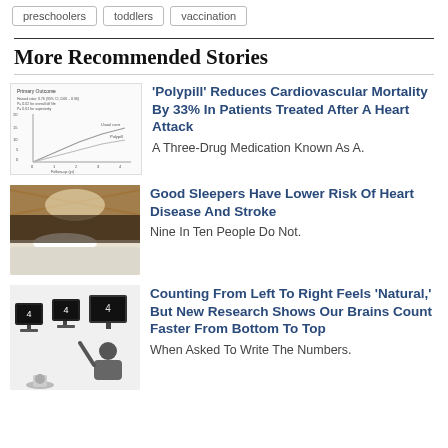preschoolers  toddlers  vaccination
More Recommended Stories
[Figure (continuous-plot): Line chart showing Primary Outcome (Percentage of Patients) over Follow-up time, two curves labeled Usual care and Polypill]
'Polypill' Reduces Cardiovascular Mortality By 33% In Patients Treated After A Heart Attack
A Three-Drug Medication Known As A.
[Figure (photo): Bedroom interior photo showing a bed with white pillows and duvet, with light coming from windows above]
Good Sleepers Have Lower Risk Of Heart Disease And Stroke
Nine In Ten People Do Not.
[Figure (illustration): Illustration of a person looking at computer monitors displaying progressive number sequences, concept of counting direction]
Counting From Left To Right Feels 'Natural,' But New Research Shows Our Brains Count Faster From Bottom To Top
When Asked To Write The Numbers.